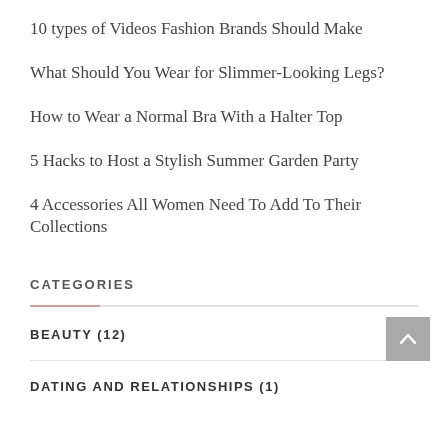10 types of Videos Fashion Brands Should Make
What Should You Wear for Slimmer-Looking Legs?
How to Wear a Normal Bra With a Halter Top
5 Hacks to Host a Stylish Summer Garden Party
4 Accessories All Women Need To Add To Their Collections
CATEGORIES
BEAUTY (12)
DATING AND RELATIONSHIPS (1)